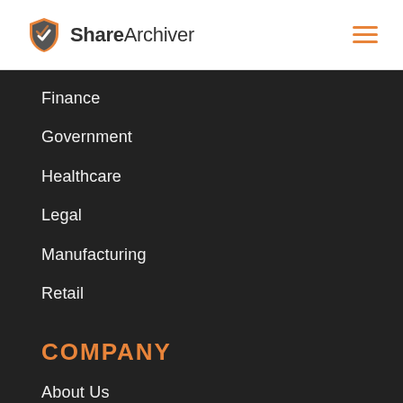[Figure (logo): ShareArchiver logo with orange shield icon and text 'ShareArchiver']
Finance
Government
Healthcare
Legal
Manufacturing
Retail
COMPANY
About Us
Contact Us
Why ShareArchiver